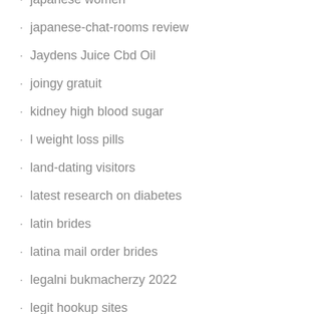japanese women
japanese-chat-rooms review
Jaydens Juice Cbd Oil
joingy gratuit
kidney high blood sugar
l weight loss pills
land-dating visitors
latest research on diabetes
latin brides
latina mail order brides
legalni bukmacherzy 2022
legit hookup sites